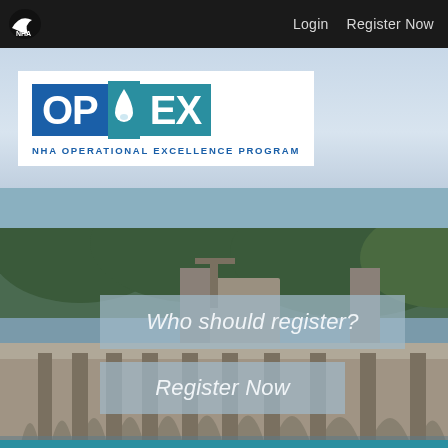Login   Register Now
[Figure (logo): OPEX NHA Operational Excellence Program logo — 'OP' in blue box, water drop, 'EX' in teal box]
NHA OPERATIONAL EXCELLENCE PROGRAM
[Figure (photo): Aerial photograph of a large concrete hydroelectric dam with spillways, cranes, and forested mountains in the background]
Who should register?
Register Now